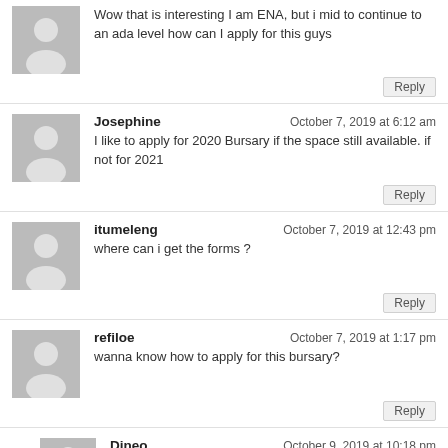Wow that is interesting I am ENA, but i mid to continue to an ada level how can I apply for this guys
Reply
Josephine — October 7, 2019 at 6:12 am
I like to apply for 2020 Bursary if the space still available. if not for 2021
Reply
itumeleng — October 7, 2019 at 12:43 pm
where can i get the forms ?
Reply
refiloe — October 7, 2019 at 1:17 pm
wanna know how to apply for this bursary?
Reply
Dineo — October 9, 2019 at 10:18 pm
I am interested and i wanna know how to apply for the learnership 2020